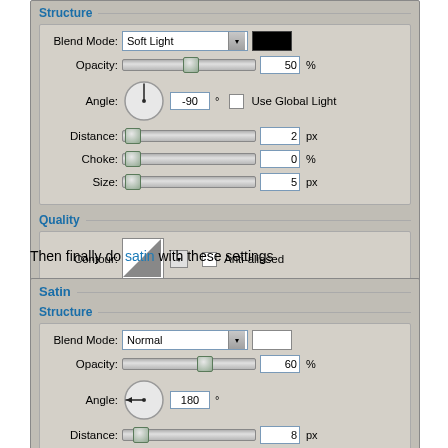[Figure (screenshot): Photoshop Layer Style dialog - Inner Shadow Structure section. Blend Mode: Soft Light (black swatch), Opacity: 50%, Angle: -90 degrees, Distance: 2 px, Choke: 0%, Size: 5 px. Quality section: Contour with diagonal gradient preview, Anti-aliased unchecked, Noise: 0%.]
Then finally do satin with these settings
[Figure (screenshot): Photoshop Layer Style dialog - Satin section with Structure subsection. Blend Mode: Normal (white swatch), Opacity: 60%, Angle: 180 degrees, Distance: 8 px, Size: 21 px. Bottom partially visible.]